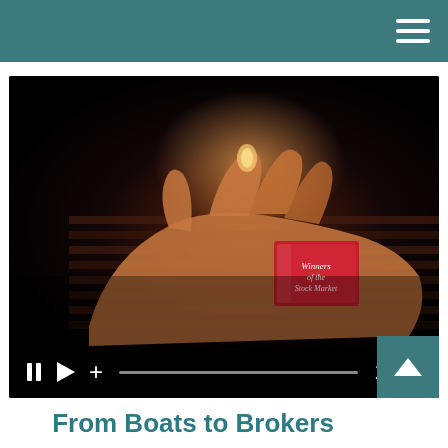[Figure (screenshot): Video player showing a dark, moody image of hands holding a small red book titled 'Winners of the Stock Market' on a wooden surface, with video controls showing pause, play, plus icons, a progress bar, and time display of 1:26]
From Boats to Brokers
From the Dutch East India Company to Wall Street, the stock